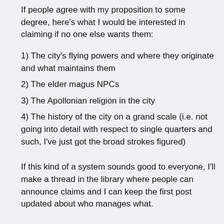If people agree with my proposition to some degree, here's what I would be interested in claiming if no one else wants them:
1) The city's flying powers and where they originate and what maintains them
2) The elder magus NPCs
3) The Apollonian religion in the city
4) The history of the city on a grand scale (i.e. not going into detail with respect to single quarters and such, I've just got the broad strokes figured)
If this kind of a system sounds good to everyone, I'll make a thread in the library where people can announce claims and I can keep the first post updated about who manages what.